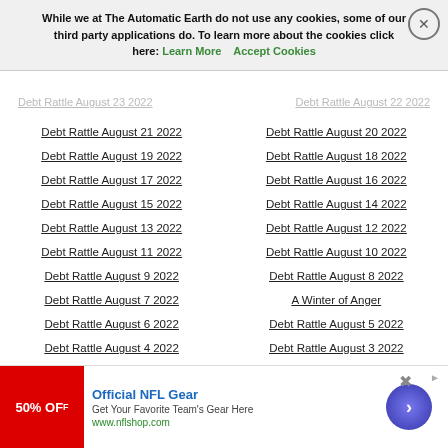Recent Posts
While we at The Automatic Earth do not use any cookies, some of our third party applications do. To learn more about the cookies click here: Learn More  Accept Cookies
Debt Rattle August 23 2022
Debt Rattle August 22 2022
Debt Rattle August 21 2022
Debt Rattle August 20 2022
Debt Rattle August 19 2022
Debt Rattle August 18 2022
Debt Rattle August 17 2022
Debt Rattle August 16 2022
Debt Rattle August 15 2022
Debt Rattle August 14 2022
Debt Rattle August 13 2022
Debt Rattle August 12 2022
Debt Rattle August 11 2022
Debt Rattle August 10 2022
Debt Rattle August 9 2022
Debt Rattle August 8 2022
Debt Rattle August 7 2022
A Winter of Anger
Debt Rattle August 6 2022
Debt Rattle August 5 2022
Debt Rattle August 4 2022
Debt Rattle August 3 2022
[Figure (other): Advertisement banner for Official NFL Gear with 50% OFF promotion, nflshop.com]